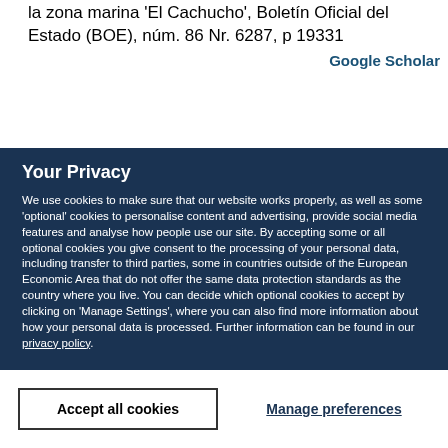la zona marina 'El Cachucho', Boletín Oficial del Estado (BOE), núm. 86 Nr. 6287, p 19331
Google Scholar
Your Privacy
We use cookies to make sure that our website works properly, as well as some 'optional' cookies to personalise content and advertising, provide social media features and analyse how people use our site. By accepting some or all optional cookies you give consent to the processing of your personal data, including transfer to third parties, some in countries outside of the European Economic Area that do not offer the same data protection standards as the country where you live. You can decide which optional cookies to accept by clicking on 'Manage Settings', where you can also find more information about how your personal data is processed. Further information can be found in our privacy policy.
Accept all cookies
Manage preferences